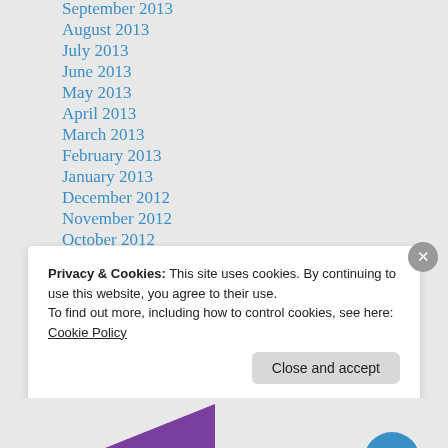September 2013
August 2013
July 2013
June 2013
May 2013
April 2013
March 2013
February 2013
January 2013
December 2012
November 2012
October 2012
September 2012
August 2012
Privacy & Cookies: This site uses cookies. By continuing to use this website, you agree to their use.
To find out more, including how to control cookies, see here: Cookie Policy
Close and accept